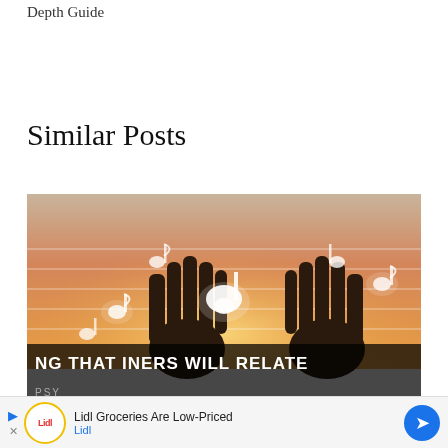Depth Guide
Similar Posts
[Figure (photo): Two hands raised against a warm sunset background with glowing white musical notes floating around them, with horizontal staff lines across the image. Text overlay at bottom reads 'NG THAT INERS WILL RELATE' and 'PSY' label at bottom left.]
Lidl Groceries Are Low-Priced
Lidl